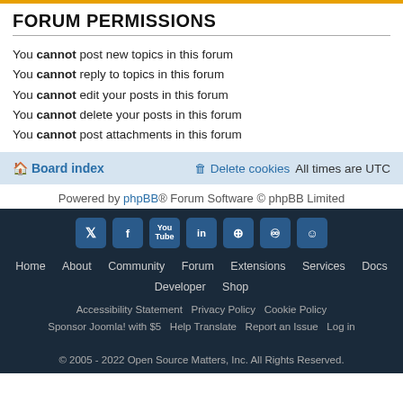FORUM PERMISSIONS
You cannot post new topics in this forum
You cannot reply to topics in this forum
You cannot edit your posts in this forum
You cannot delete your posts in this forum
You cannot post attachments in this forum
Board index   Delete cookies   All times are UTC
Powered by phpBB® Forum Software © phpBB Limited
Home · About · Community · Forum · Extensions · Services · Docs · Developer · Shop
Accessibility Statement · Privacy Policy · Cookie Policy
Sponsor Joomla! with $5 · Help Translate · Report an Issue · Log in
© 2005 - 2022 Open Source Matters, Inc. All Rights Reserved.